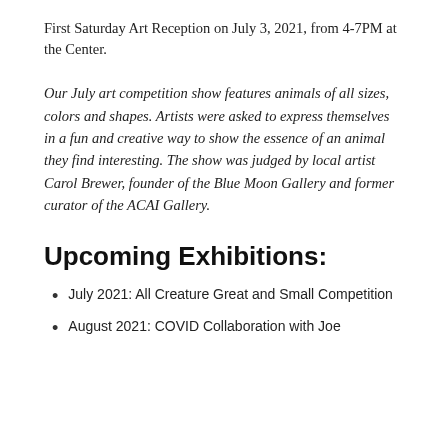First Saturday Art Reception on July 3, 2021, from 4-7PM at the Center.
Our July art competition show features animals of all sizes, colors and shapes. Artists were asked to express themselves in a fun and creative way to show the essence of an animal they find interesting. The show was judged by local artist Carol Brewer, founder of the Blue Moon Gallery and former curator of the ACAI Gallery.
Upcoming Exhibitions:
July 2021: All Creature Great and Small Competition
August 2021: COVID Collaboration with Joe